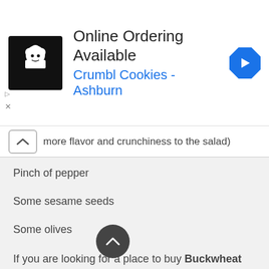[Figure (screenshot): Advertisement banner for Crumbl Cookies - Ashburn with online ordering available, showing a chef logo icon and navigation arrow icon]
more flavor and crunchiness to the salad)
Pinch of pepper
Some sesame seeds
Some olives
If you are looking for a place to buy Buckwheat kernels you can get it from Bohemian Quest. Either order online, visit their store or order through Uber eats.